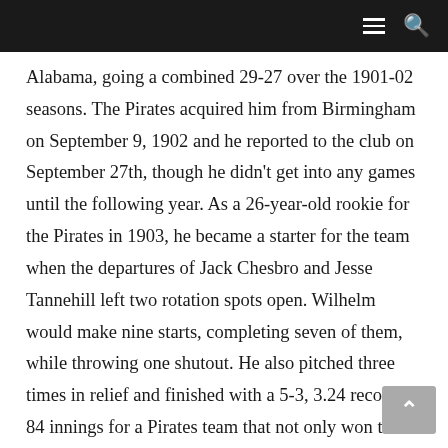≡ 🔍
Alabama, going a combined 29-27 over the 1901-02 seasons. The Pirates acquired him from Birmingham on September 9, 1902 and he reported to the club on September 27th, though he didn't get into any games until the following year. As a 26-year-old rookie for the Pirates in 1903, he became a starter for the team when the departures of Jack Chesbro and Jesse Tannehill left two rotation spots open. Wilhelm would make nine starts, completing seven of them, while throwing one shutout. He also pitched three times in relief and finished with a 5-3, 3.24 record in 84 innings for a Pirates team that not only won their third straight National League title, but they went on to play in the first modern World Series. On August 27th, the Pirates released Wilhelm and added